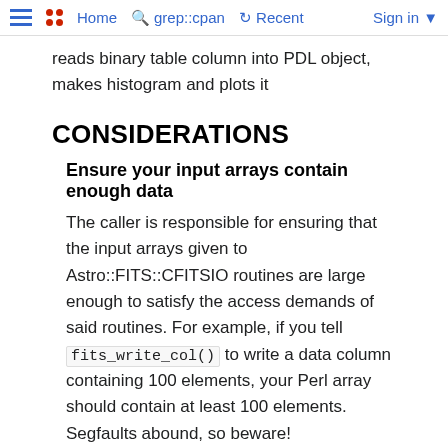Home  grep::cpan  Recent  Sign in
reads binary table column into PDL object, makes histogram and plots it
CONSIDERATIONS
Ensure your input arrays contain enough data
The caller is responsible for ensuring that the input arrays given to Astro::FITS::CFITSIO routines are large enough to satisfy the access demands of said routines. For example, if you tell fits_write_col() to write a data column containing 100 elements, your Perl array should contain at least 100 elements. Segfaults abound, so beware!
maxdim semantics
Some cfitsio routines take a parameter named